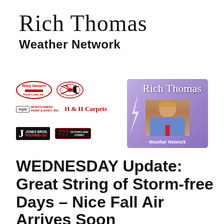Rich Thomas Weather Network
[Figure (logo): Sponsor banner with logos: Wiley Sanders Truck Lines Inc., Chevrolet Corvette logo, Montgomery Paint & Body Inc. (mpb), H & H Carpets, Jones Bros. Roofing Co., Victoryland Casino 777. Right side: Rich Thomas Weather Network panel with purple/lavender background, lightning bolt, Rich Thomas name in cursive, photo of smiling man in blue shirt and tie.]
WEDNESDAY Update: Great String of Storm-free Days – Nice Fall Air Arrives Soon